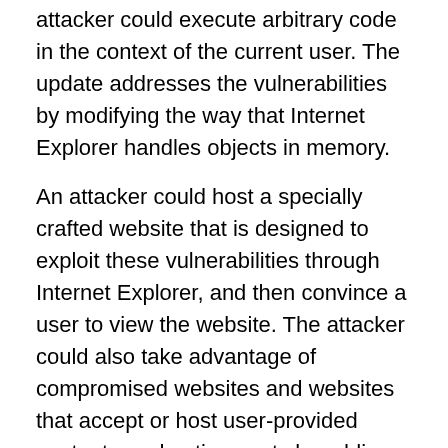attacker could execute arbitrary code in the context of the current user. The update addresses the vulnerabilities by modifying the way that Internet Explorer handles objects in memory.
An attacker could host a specially crafted website that is designed to exploit these vulnerabilities through Internet Explorer, and then convince a user to view the website. The attacker could also take advantage of compromised websites and websites that accept or host user-provided content or advertisements by adding specially crafted content that could exploit these vulnerabilities. In all cases, however, an attacker would have no way to force users to view the attacker-controlled content. Instead, an attacker would have to convince users to take action, typically by getting them to click a link in an instant messenger or email message that takes users to the attacker's website, or by getting them to open an attachment sent through email.